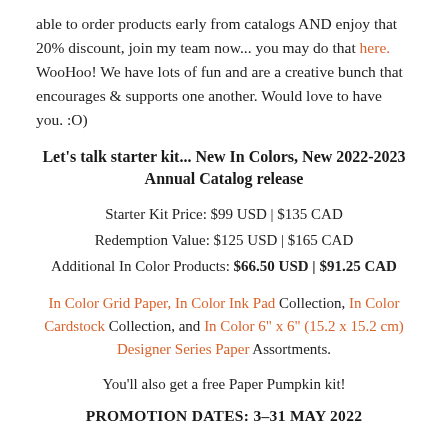able to order products early from catalogs AND enjoy that 20% discount, join my team now... you may do that here. WooHoo! We have lots of fun and are a creative bunch that encourages & supports one another. Would love to have you. :O)
Let's talk starter kit... New In Colors, New 2022-2023 Annual Catalog release
Starter Kit Price: $99 USD | $135 CAD
Redemption Value: $125 USD | $165 CAD
Additional In Color Products: $66.50 USD | $91.25 CAD
In Color Grid Paper, In Color Ink Pad Collection, In Color Cardstock Collection, and In Color 6" x 6" (15.2 x 15.2 cm) Designer Series Paper Assortments.
You'll also get a free Paper Pumpkin kit!
PROMOTION DATES: 3–31 MAY 2022